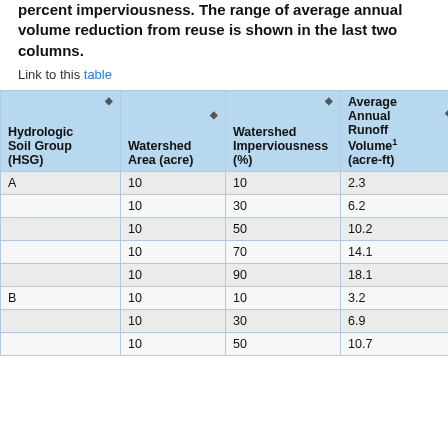percent imperviousness. The range of average annual volume reduction from reuse is shown in the last two columns.
Link to this table
| Hydrologic Soil Group (HSG) | Watershed Area (acre) | Watershed Imperviousness (%) | Average Annual Runoff Volume1 (acre-ft) | A... (truncated, rightmost column cut off) |
| --- | --- | --- | --- | --- |
| A | 10 | 10 | 2.3 |  |
|  | 10 | 30 | 6.2 |  |
|  | 10 | 50 | 10.2 |  |
|  | 10 | 70 | 14.1 |  |
|  | 10 | 90 | 18.1 |  |
| B | 10 | 10 | 3.2 |  |
|  | 10 | 30 | 6.9 |  |
|  | 10 | 50 | 10.7 |  |